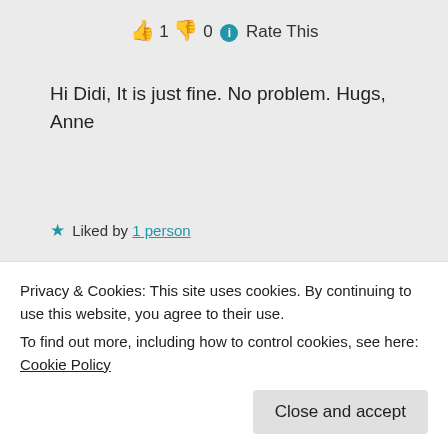👍 1 👎 0 ℹ Rate This
Hi Didi, It is just fine. No problem. Hugs, Anne
★ Liked by 1 person
Log in to Reply
Didis Art Design on 04/01/2019 at 07:35
Privacy & Cookies: This site uses cookies. By continuing to use this website, you agree to their use.
To find out more, including how to control cookies, see here: Cookie Policy
Close and accept
Didi